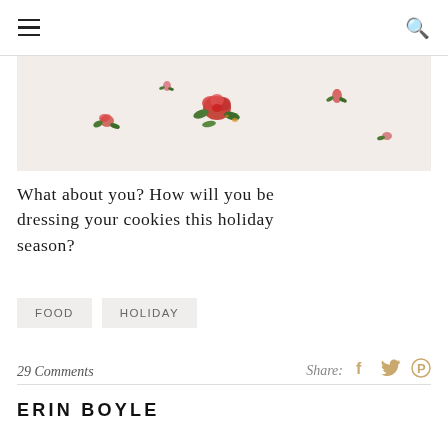☰   🔍
[Figure (photo): Close-up photo of white fabric with small red rose floral print pattern]
What about you? How will you be dressing your cookies this holiday season?
FOOD
HOLIDAY
29 Comments    Share:
ERIN BOYLE